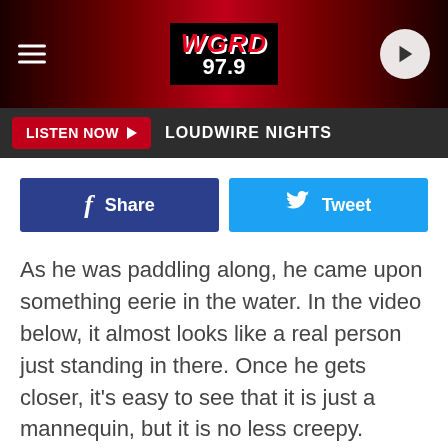[Figure (logo): WGRD 97.9 radio station header with logo, hamburger menu, and play button on dark red gradient background]
[Figure (screenshot): Listen Now button bar with LOUDWIRE NIGHTS label on dark background]
[Figure (screenshot): Facebook Share and Twitter Tweet social share buttons]
As he was paddling along, he came upon something eerie in the water. In the video below, it almost looks like a real person just standing in there. Once he gets closer, it's easy to see that it is just a mannequin, but it is no less creepy.